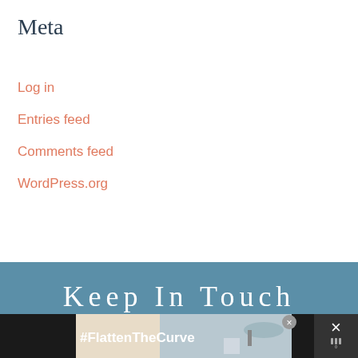Meta
Log in
Entries feed
Comments feed
WordPress.org
Keep In Touch
[Figure (screenshot): Advertisement bar at bottom with #FlattenTheCurve text, a faucet/handwashing image, a close button, and a menu/weather icon on the right]